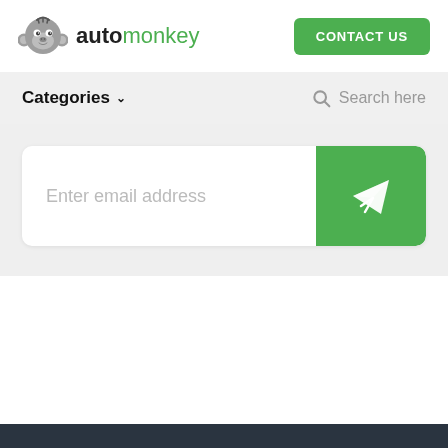automonkey — CONTACT US
Categories ∨   Search here
[Figure (screenshot): Email subscription input box with placeholder text 'Enter email address' and a green submit button with a paper-plane icon]